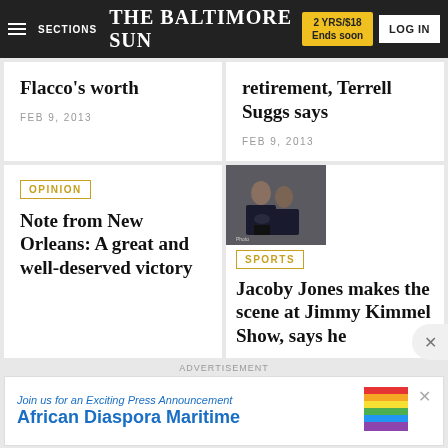THE BALTIMORE SUN | 2 YRS/$18 Ends soon | LOG IN
Flacco's worth
FEB 9, 2013
retirement, Terrell Suggs says
FEB 9, 2013
OPINION
Note from New Orleans: A great and well-deserved victory
[Figure (photo): Photo of people at an event, appears to be Jacoby Jones at Jimmy Kimmel Show]
SPORTS
Jacoby Jones makes the scene at Jimmy Kimmel Show, says he
ADVERTISEMENT
Join us for an Exciting Press Announcement African Diaspora Maritime